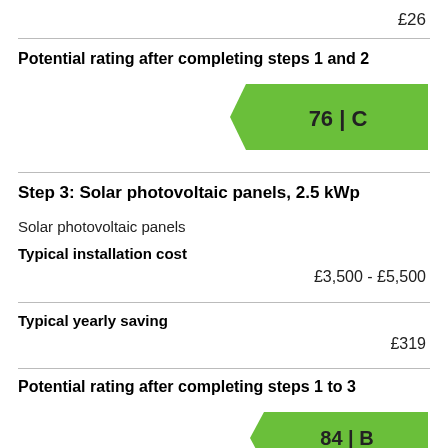£26
Potential rating after completing steps 1 and 2
[Figure (infographic): Green EPC arrow badge showing rating 76 | C]
Step 3: Solar photovoltaic panels, 2.5 kWp
Solar photovoltaic panels
Typical installation cost
£3,500 - £5,500
Typical yearly saving
£319
Potential rating after completing steps 1 to 3
[Figure (infographic): Green EPC arrow badge showing rating 84 | B]